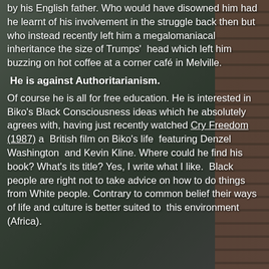by his English father.  Who would have disowned him had he learnt of his involvement in the struggle back then but who instead recently left him a megalomaniacal inheritance the size of Trumps'  head which left him buzzing on hot coffee at a corner café in Melville.
He is against Authoritarianism.
Of course he is all for free education. He is interested in Biko's Black Consciousness ideas which he absolutely agrees with, having just recently watched Cry Freedom (1987) a  British film on Biko's life  featuring Denzel Washington  and Kevin Kline. Where could he find his book? What's its title? Yes, I write what I like.  Black people are right not to take advice on how to do things from White people. Contrary to common belief their ways of life and culture is better suited to  this environment (Africa).